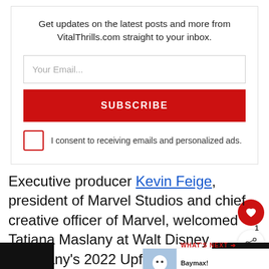Get updates on the latest posts and more from VitalThrills.com straight to your inbox.
Your Email...
SUBSCRIBE
I consent to receiving emails and personalized ads.
Executive producer Kevin Feige, president of Marvel Studios and chief creative officer of Marvel, welcomed Tatiana Maslany at Walt Disney Company's 2022 Upfront presentation this afternoon at Basketball City or...
WHAT'S NEXT → Baymax! Trailer and...